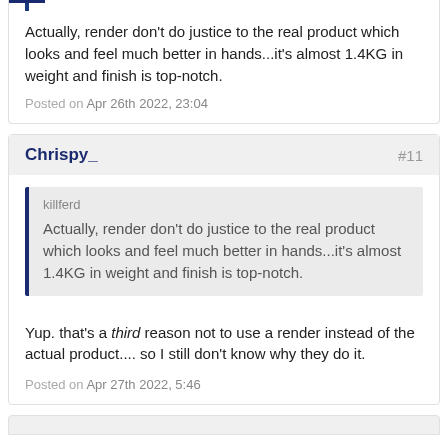Actually, render don't do justice to the real product which looks and feel much better in hands...it's almost 1.4KG in weight and finish is top-notch.
Posted on Apr 26th 2022, 23:04
Chrispy_
#11
killferd
Actually, render don't do justice to the real product which looks and feel much better in hands...it's almost 1.4KG in weight and finish is top-notch.
Yup. that's a third reason not to use a render instead of the actual product.... so I still don't know why they do it.
Posted on Apr 27th 2022, 5:46